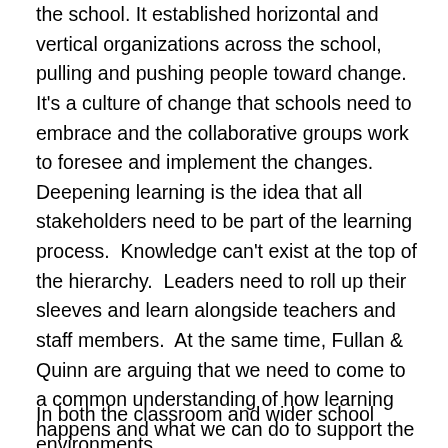the school. It established horizontal and vertical organizations across the school, pulling and pushing people toward change.  It's a culture of change that schools need to embrace and the collaborative groups work to foresee and implement the changes. Deepening learning is the idea that all stakeholders need to be part of the learning process.  Knowledge can't exist at the top of the hierarchy.  Leaders need to roll up their sleeves and learn alongside teachers and staff members.  At the same time, Fullan & Quinn are arguing that we need to come to a common understanding of how learning happens and what we can do to support the shift toward more collaborative learning environments.
In both the classroom and wider school environments,